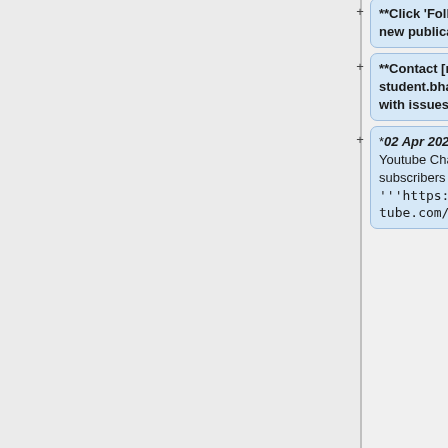**Click 'Follow' to be notified of new publications.
**Contact [mailto:gxl642@student.bham.ac.uk Gongda Lu] with issues or questions.
*'''02 Apr 2020:''' The GEOS-Chem Youtube Channel has 100+ subscribers and a new URL: <tt>'''https://youtube.com/c/geoschem'''</tt>